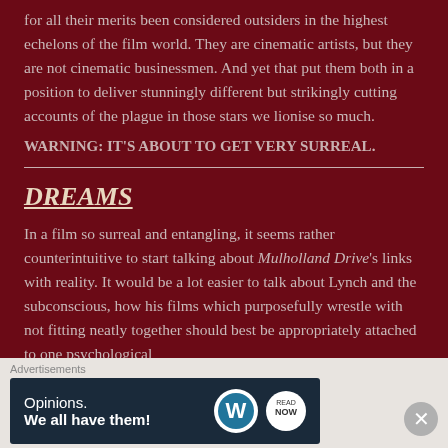for all their merits been considered outsiders in the highest echelons of the film world. They are cinematic artists, but they are not cinematic businessmen. And yet that put them both in a position to deliver stunningly different but strikingly cutting accounts of the plague in those stars we lionise so much.
WARNING: IT'S ABOUT TO GET VERY SURREAL.
DREAMS
In a film so surreal and entangling, it seems rather counterintuitive to start talking about Mulholland Drive's links with reality. It would be a lot easier to talk about Lynch and the subconscious, how his films which purposefully wrestle with not fitting neatly together should best be appropriately attached to one psychological
Advertisements Opinions. We all have them!